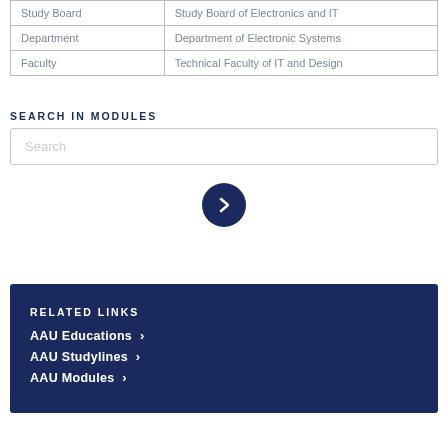| Study Board | Study Board of Electronics and IT |
| Department | Department of Electronic Systems |
| Faculty | Technical Faculty of IT and Design |
SEARCH IN MODULES
[Figure (other): Search input box with placeholder text 'Search' and a dark navy circular button with a right-pointing chevron arrow]
RELATED LINKS
AAU Educations
AAU Studylines
AAU Modules